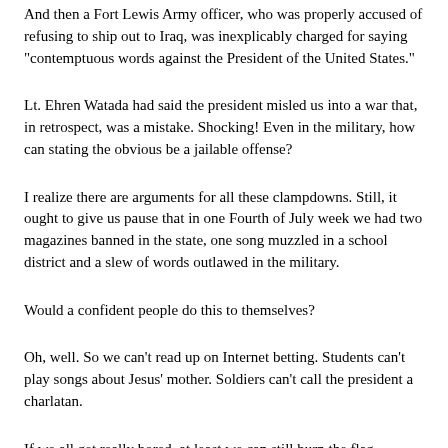And then a Fort Lewis Army officer, who was properly accused of refusing to ship out to Iraq, was inexplicably charged for saying "contemptuous words against the President of the United States."
Lt. Ehren Watada had said the president misled us into a war that, in retrospect, was a mistake. Shocking! Even in the military, how can stating the obvious be a jailable offense?
I realize there are arguments for all these clampdowns. Still, it ought to give us pause that in one Fourth of July week we had two magazines banned in the state, one song muzzled in a school district and a slew of words outlawed in the military.
Would a confident people do this to themselves?
Oh, well. So we can't read up on Internet betting. Students can't play songs about Jesus' mother. Soldiers can't call the president a charlatan.
If we all get really bored, at least we can still burn the flag.